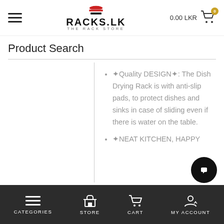RACKS.LK THE RACK STORE — 0.00 LKR — Cart
Product Search
✦Quality DESIGN✦: The Dish Drying Rack is with anti-slip pads, to protect dishes and sinks in case of sliding even if there is water on the table.
✦NEAT KITCHEN, HAPPY
CATEGORIES  STORE  CART  MY ACCOUNT